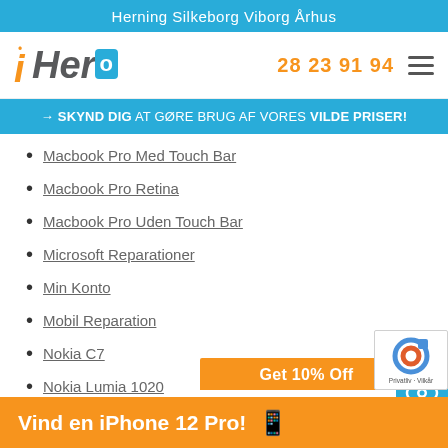Herning  Silkeborg  Viborg  Århus
[Figure (logo): iHero company logo with orange italic font and blue phone icon]
28 23 91 94
→ SKYND DIG AT GØRE BRUG AF VORES VILDE PRISER!
Macbook Pro Med Touch Bar
Macbook Pro Retina
Macbook Pro Uden Touch Bar
Microsoft Reparationer
Min Konto
Mobil Reparation
Nokia C7
Nokia Lumia 1020
Nokia Lumia 1320
Nokia Lumi…
Get 10% Off
Vind en iPhone 12 Pro!